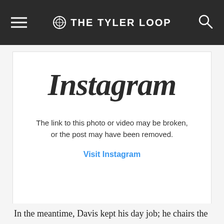THE TYLER LOOP
[Figure (screenshot): Instagram embed placeholder showing broken link message with 'Visit Instagram' link]
In the meantime, Davis kept his day job; he chairs the